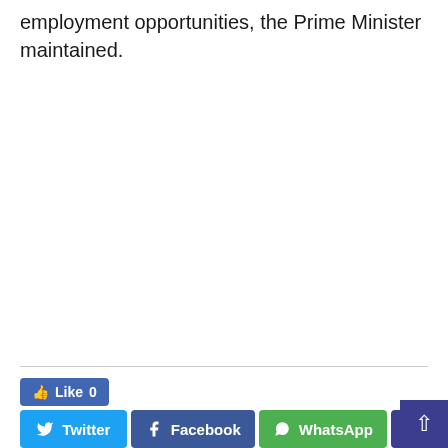employment opportunities, the Prime Minister maintained.
Like 0
Twitter
Facebook
WhatsApp